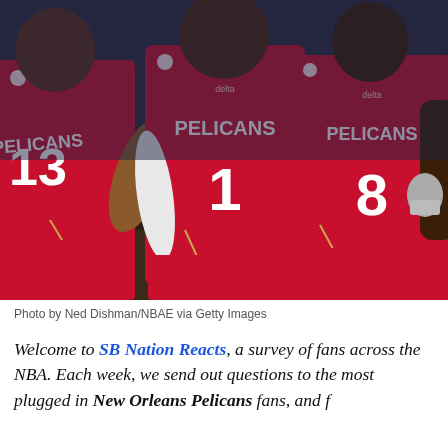[Figure (photo): Three New Orleans Pelicans players in red jerseys (numbers 13, 1, and 8) standing on a basketball court. The player in the center wearing #1 is Zion Williamson. Photo taken during an NBA game.]
Photo by Ned Dishman/NBAE via Getty Images
Welcome to SB Nation Reacts, a survey of fans across the NBA. Each week, we send out questions to the most plugged in New Orleans Pelicans fans, and f...